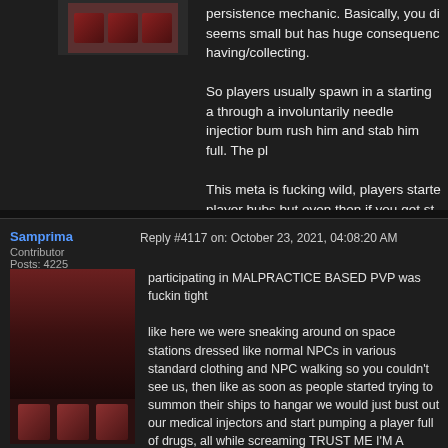persistence mechanic. Basically, you di seems small but has huge consequence having/collecting.

So players usually spawn in a starting a through a involuntarily needle injection bum rush him and stab him full. The pl

This meta is fucking wild, players starte player hubs but even then if you get st
Samprima
Contributor
Posts: 4225
Reply #4117 on: October 23, 2021, 04:08:20 AM

participating in MALPRACTICE BASED PVP was fuckin tight

like here we were sneaking around on space stations dressed like normal NPCs in various standard clothing and NPC walking so you couldn't see us, then like as soon as people started trying to summon their ships to hangar we would just bust out our medical injectors and start pumping a player full of drugs, all while screaming TRUST ME I'M A DOCTOR